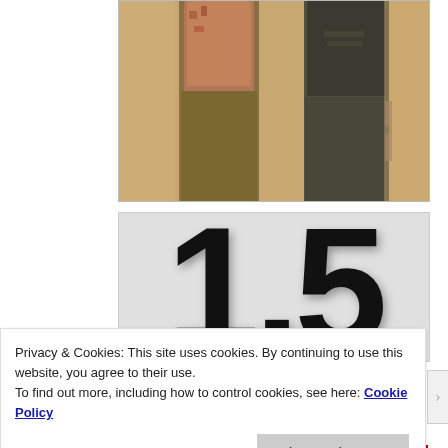[Figure (photo): Photo of two people standing, partial view showing torsos and legs against a light tent/canvas background. Left figure in patterned shirt and olive pants, right figure in dark shirt and dark pants.]
[Figure (other): Large bold score number '1.5' displayed on a light gray background inside a bordered box.]
Recommendation: Goodness, no. But I will say this:
Privacy & Cookies: This site uses cookies. By continuing to use this website, you agree to their use.
To find out more, including how to control cookies, see here: Cookie Policy
Close and accept